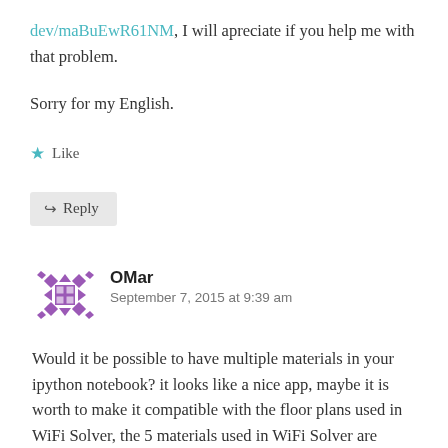dev/maBuEwR61NM, I will apreciate if you help me with that problem.
Sorry for my English.
★ Like
↳ Reply
OMar
September 7, 2015 at 9:39 am
Would it be possible to have multiple materials in your ipython notebook? it looks like a nice app, maybe it is worth to make it compatible with the floor plans used in WiFi Solver, the 5 materials used in WiFi Solver are